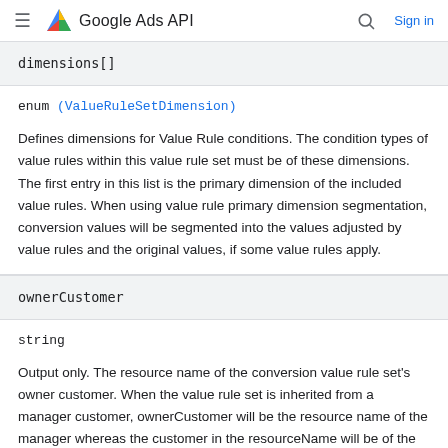Google Ads API
dimensions[]
enum (ValueRuleSetDimension)
Defines dimensions for Value Rule conditions. The condition types of value rules within this value rule set must be of these dimensions. The first entry in this list is the primary dimension of the included value rules. When using value rule primary dimension segmentation, conversion values will be segmented into the values adjusted by value rules and the original values, if some value rules apply.
ownerCustomer
string
Output only. The resource name of the conversion value rule set's owner customer. When the value rule set is inherited from a manager customer, ownerCustomer will be the resource name of the manager whereas the customer in the resourceName will be of the requesting serving customer. ##Read only##